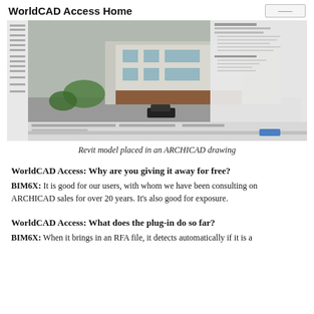WorldCAD Access Home
[Figure (screenshot): Screenshot of ARCHICAD software with a Revit model (3D building rendering) placed in an ARCHICAD drawing, showing CAD interface with panels and toolbar.]
Revit model placed in an ARCHICAD drawing
WorldCAD Access: Why are you giving it away for free?
BIM6X: It is good for our users, with whom we have been consulting on ARCHICAD sales for over 20 years. It's also good for exposure.
WorldCAD Access: What does the plug-in do so far?
BIM6X: When it brings in an RFA file, it detects automatically if it is a